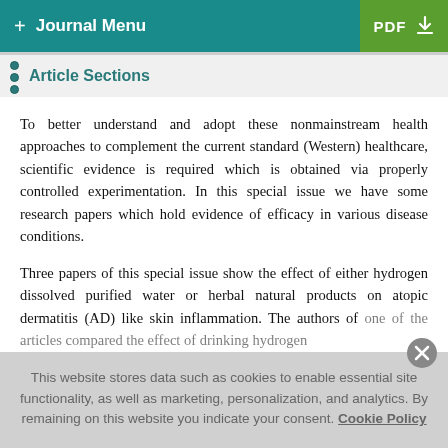+ Journal Menu  PDF ↓
Article Sections
To better understand and adopt these nonmainstream health approaches to complement the current standard (Western) healthcare, scientific evidence is required which is obtained via properly controlled experimentation. In this special issue we have some research papers which hold evidence of efficacy in various disease conditions.
Three papers of this special issue show the effect of either hydrogen dissolved purified water or herbal natural products on atopic dermatitis (AD) like skin inflammation. The authors of one of the articles compared the effect of drinking hydrogen
This website stores data such as cookies to enable essential site functionality, as well as marketing, personalization, and analytics. By remaining on this website you indicate your consent. Cookie Policy